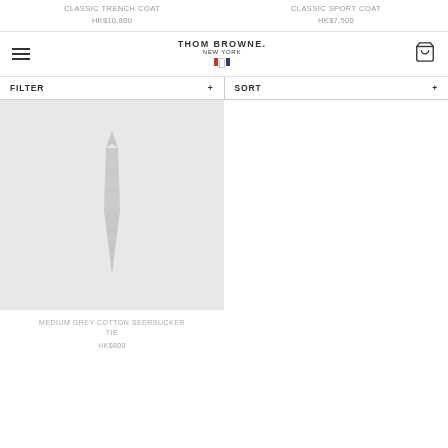CLASSIC TRENCH COAT
HK$10,800
CLASSIC SPORT COAT
HK$7,500
[Figure (logo): Thom Browne New York logo with French tricolor flag icon]
FILTER +
SORT +
[Figure (photo): Medium grey cotton seersucker tie on light grey background]
MEDIUM GREY COTTON SEERSUCKER TIE
HK$800